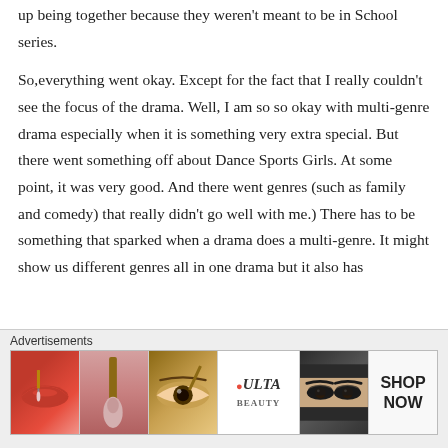up being together because they weren't meant to be in School series.
So,everything went okay. Except for the fact that I really couldn't see the focus of the drama. Well, I am so so okay with multi-genre drama especially when it is something very extra special. But there went something off about Dance Sports Girls. At some point, it was very good. And there went genres (such as family and comedy) that really didn't go well with me.) There has to be something that sparked when a drama does a multi-genre. It might show us different genres all in one drama but it also has
Advertisements
[Figure (photo): Advertisement banner for ULTA beauty products showing: lips with red lipstick and brush, eye with eyeshadow brush, ULTA beauty logo, close-up eyes with dark eyeshadow, and SHOP NOW call-to-action text.]